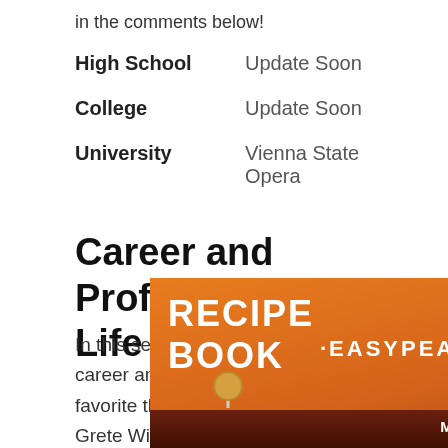in the comments below!
|  |  |
| --- | --- |
| High School | Update Soon |
| College | Update Soon |
| University | Vienna State Opera |
Career and Professional Life
In this section, we will discuss her career and professional life. Her favorite things are also added here. Grete Wiesenthal's main profession is Dancer, and she is known for Ecstatic modern
[Figure (photo): Advertisement banner for Little Potato Company Recipe Book EasyPeazy - Meal Planning Made Easy!]